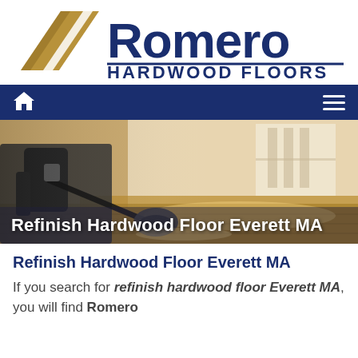[Figure (logo): Romero Hardwood Floors logo with diagonal gold/tan stripe icon on left and dark blue 'Romero' text with 'HARDWOOD FLOORS' subtitle]
[Figure (screenshot): Navigation bar with dark blue background, white house icon on left, white hamburger menu icon on right]
[Figure (photo): Worker refinishing hardwood floor with a floor buffer/sander machine in a bright room with wood floors]
Refinish Hardwood Floor Everett MA
Refinish Hardwood Floor Everett MA
If you search for refinish hardwood floor Everett MA, you will find Romero